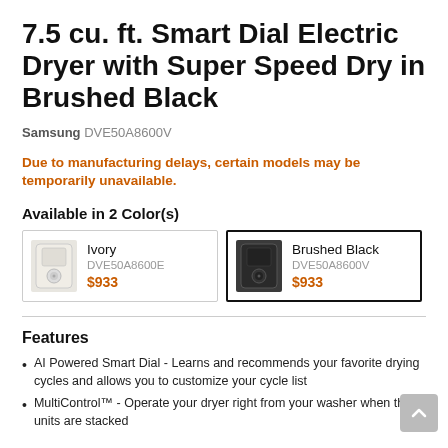7.5 cu. ft. Smart Dial Electric Dryer with Super Speed Dry in Brushed Black
Samsung DVE50A8600V
Due to manufacturing delays, certain models may be temporarily unavailable.
Available in 2 Color(s)
| Color | SKU | Price |
| --- | --- | --- |
| Ivory | DVE50A8600E | $933 |
| Brushed Black | DVE50A8600V | $933 |
Features
AI Powered Smart Dial - Learns and recommends your favorite drying cycles and allows you to customize your cycle list
MultiControl™ - Operate your dryer right from your washer when the units are stacked